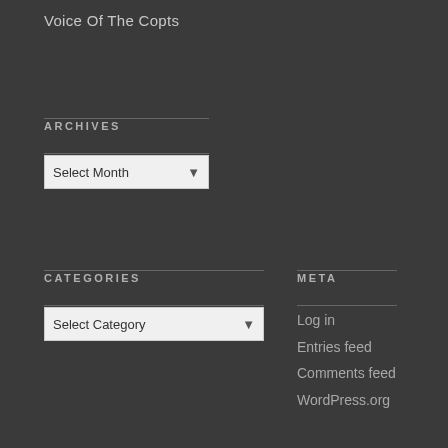Voice Of The Copts
ARCHIVES
Select Month
CATEGORIES
Select Category
META
Log in
Entries feed
Comments feed
WordPress.org